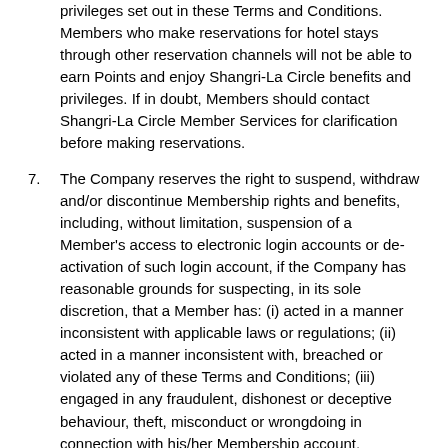privileges set out in these Terms and Conditions. Members who make reservations for hotel stays through other reservation channels will not be able to earn Points and enjoy Shangri-La Circle benefits and privileges. If in doubt, Members should contact Shangri-La Circle Member Services for clarification before making reservations.
7. The Company reserves the right to suspend, withdraw and/or discontinue Membership rights and benefits, including, without limitation, suspension of a Member's access to electronic login accounts or de-activation of such login account, if the Company has reasonable grounds for suspecting, in its sole discretion, that a Member has: (i) acted in a manner inconsistent with applicable laws or regulations; (ii) acted in a manner inconsistent with, breached or violated any of these Terms and Conditions; (iii) engaged in any fraudulent, dishonest or deceptive behaviour, theft, misconduct or wrongdoing in connection with his/her Membership account, including without limitation, involving Reward